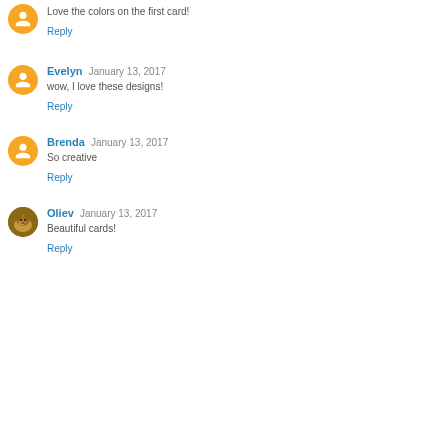Love the colors on the first card!
Reply
Evelyn  January 13, 2017
wow, I love these designs!
Reply
Brenda  January 13, 2017
So creative
Reply
Oliev  January 13, 2017
Beautiful cards!
Reply